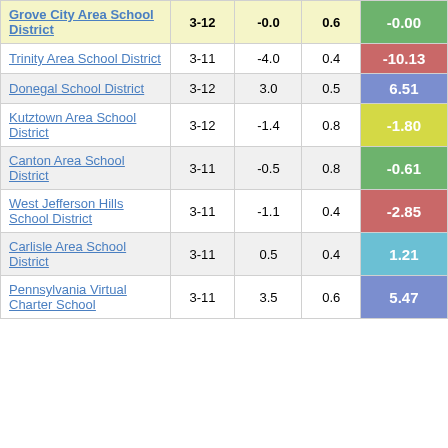| District | Grades | Value 1 | Value 2 | Score |
| --- | --- | --- | --- | --- |
| Grove City Area School District | 3-12 | -0.0 | 0.6 | -0.00 |
| Trinity Area School District | 3-11 | -4.0 | 0.4 | -10.13 |
| Donegal School District | 3-12 | 3.0 | 0.5 | 6.51 |
| Kutztown Area School District | 3-12 | -1.4 | 0.8 | -1.80 |
| Canton Area School District | 3-11 | -0.5 | 0.8 | -0.61 |
| West Jefferson Hills School District | 3-11 | -1.1 | 0.4 | -2.85 |
| Carlisle Area School District | 3-11 | 0.5 | 0.4 | 1.21 |
| Pennsylvania Virtual Charter School | 3-11 | 3.5 | 0.6 | 5.47 |